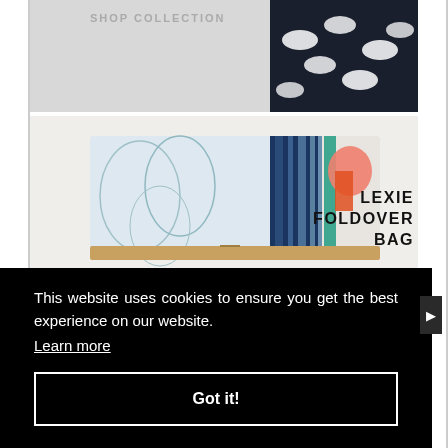[Figure (photo): Top portion of a product photo showing a dark navy bag with white swan pattern, partially visible at the top of the page]
[Figure (photo): Lexie Foldover Bag product photo showing a colorful clutch with floral and geometric pattern, tan leather trim, on a white background]
LEXIE FOLDOVER BAG
This website uses cookies to ensure you get the best experience on our website. Learn more
Got it!
[Figure (photo): Bottom strip showing colorful patterned fabric items, partially visible]